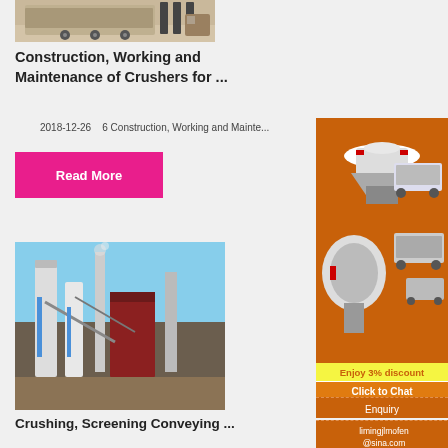[Figure (photo): Partial view of a heavy construction/crushing machine on a trailer, sepia/tan toned]
Construction, Working and Maintenance of Crushers for ...
2018-12-26   6 Construction, Working and Mainte...
Read More
[Figure (photo): Industrial facility with tall silos, conveyors, and processing equipment against a blue sky]
Crushing, Screening Conveying ...
[Figure (illustration): Orange sidebar advertisement showing crushing/grinding machinery equipment from a manufacturer]
Enjoy 3% discount
Click to Chat
Enquiry
limingjlmofen@sina.com